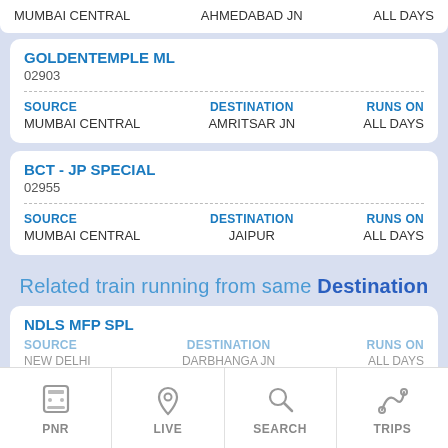| SOURCE | DESTINATION | RUNS ON |
| --- | --- | --- |
| MUMBAI CENTRAL | AHMEDABAD JN | ALL DAYS |
GOLDENTEMPLE ML
02903
| SOURCE | DESTINATION | RUNS ON |
| --- | --- | --- |
| MUMBAI CENTRAL | AMRITSAR JN | ALL DAYS |
BCT - JP SPECIAL
02955
| SOURCE | DESTINATION | RUNS ON |
| --- | --- | --- |
| MUMBAI CENTRAL | JAIPUR | ALL DAYS |
Related train running from same Destination
NDLS MFP SPL
04408
| SOURCE | DESTINATION | RUNS ON |
| --- | --- | --- |
| NEW DELHI | DARBHANGA JN | ALL DAYS |
PNR  LIVE  SEARCH  TRIPS